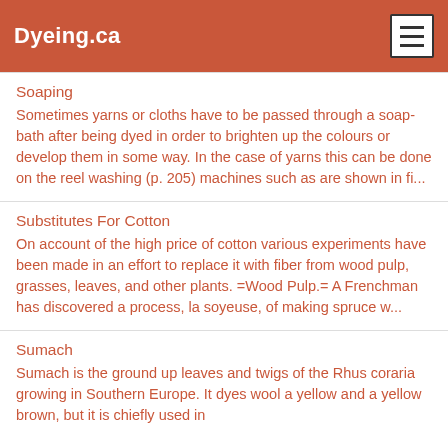Dyeing.ca
Soaping
Sometimes yarns or cloths have to be passed through a soap-bath after being dyed in order to brighten up the colours or develop them in some way. In the case of yarns this can be done on the reel washing (p. 205) machines such as are shown in fi...
Substitutes For Cotton
On account of the high price of cotton various experiments have been made in an effort to replace it with fiber from wood pulp, grasses, leaves, and other plants. =Wood Pulp.= A Frenchman has discovered a process, la soyeuse, of making spruce w...
Sumach
Sumach is the ground up leaves and twigs of the Rhus coraria growing in Southern Europe. It dyes wool a yellow and a yellow brown, but it is chiefly used in